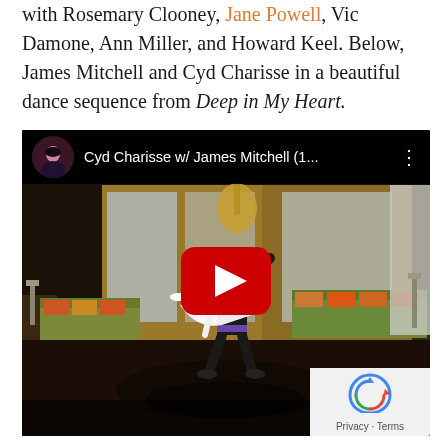with Rosemary Clooney, Jane Powell, Vic Damone, Ann Miller, and Howard Keel. Below, James Mitchell and Cyd Charisse in a beautiful dance sequence from Deep in My Heart.
[Figure (screenshot): YouTube video embed showing Cyd Charisse w/ James Mitchell (1... dance scene from Deep in My Heart, with play button overlay and privacy/terms badge.]